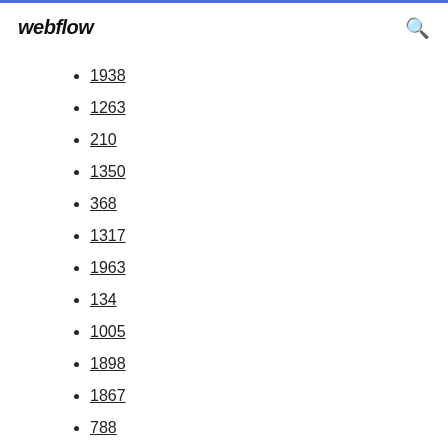webflow
1938
1263
210
1350
368
1317
1963
134
1005
1898
1867
788